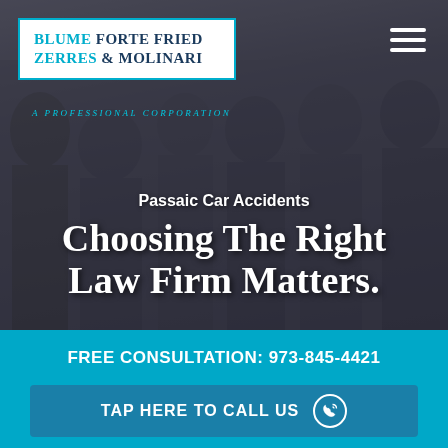[Figure (photo): Group photo of law firm attorneys in dark suits standing together in an office lobby, with dark overlay]
Blume Forte Fried Zerres & Molinari — A Professional Corporation
A Professional Corporation
Passaic Car Accidents
Choosing The Right Law Firm Matters.
FREE CONSULTATION: 973-845-4421
TAP HERE TO CALL US